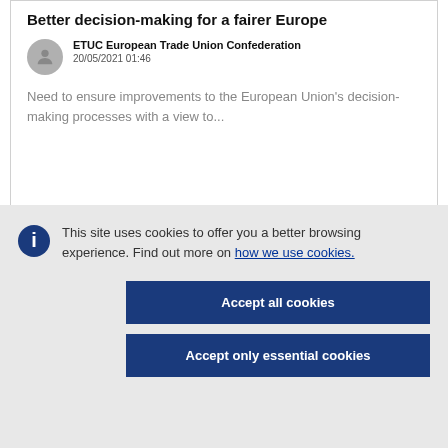Better decision-making for a fairer Europe
ETUC European Trade Union Confederation
20/05/2021 01:46
Need to ensure improvements to the European Union's decision-making processes with a view to...
This site uses cookies to offer you a better browsing experience. Find out more on how we use cookies.
Accept all cookies
Accept only essential cookies